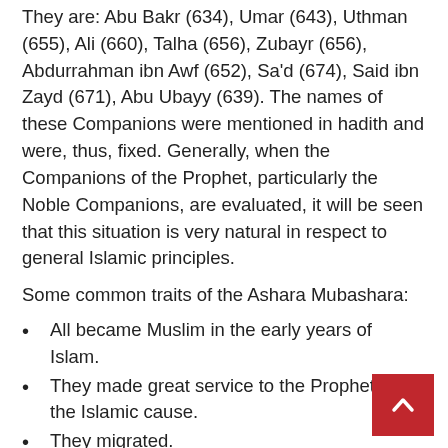They are: Abu Bakr (634), Umar (643), Uthman (655), Ali (660), Talha (656), Zubayr (656), Abdurrahman ibn Awf (652), Sa'd (674), Said ibn Zayd (671), Abu Ubayy (639). The names of these Companions were mentioned in hadith and were, thus, fixed. Generally, when the Companions of the Prophet, particularly the Noble Companions, are evaluated, it will be seen that this situation is very natural in respect to general Islamic principles.
Some common traits of the Ashara Mubashara:
All became Muslim in the early years of Islam.
They made great service to the Prophet and the Islamic cause.
They migrated.
They participated in the battle of Badr.
They swore allegiance to the Prophet at